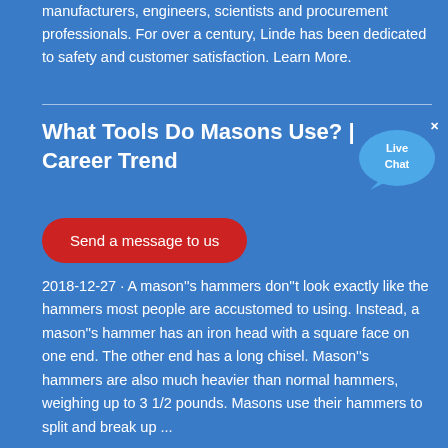manufacturers, engineers, scientists and procurement professionals. For over a century, Linde has been dedicated to safety and customer satisfaction. Learn More.
What Tools Do Masons Use? | Career Trend
[Figure (other): Live Chat bubble widget with close button]
Send a message to us
2018-12-27 · A mason''s hammers don''t look exactly like the hammers most people are accustomed to using. Instead, a mason''s hammer has an iron head with a square face on one end. The other end has a long chisel. Mason''s hammers are also much heavier than normal hammers, weighing up to 3 1/2 pounds. Masons use their hammers to split and break up ...